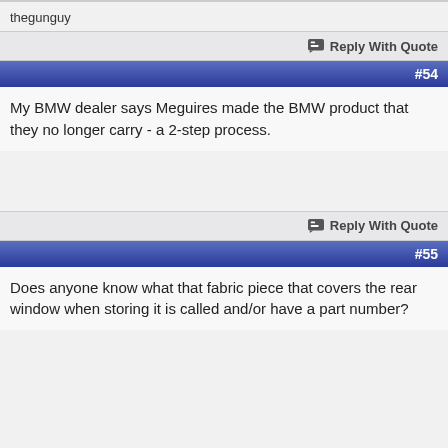thegunguy
Reply With Quote
#54
My BMW dealer says Meguires made the BMW product that they no longer carry - a 2-step process.
Reply With Quote
#55
Does anyone know what that fabric piece that covers the rear window when storing it is called and/or have a part number?